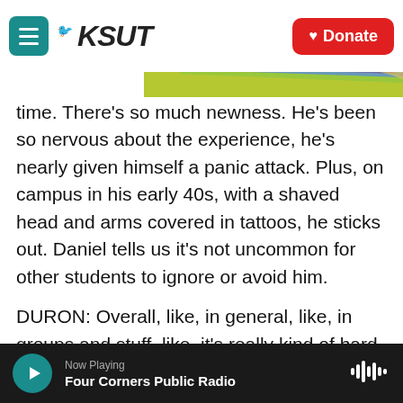KSUT | Donate
time. There's so much newness. He's been so nervous about the experience, he's nearly given himself a panic attack. Plus, on campus in his early 40s, with a shaved head and arms covered in tattoos, he sticks out. Daniel tells us it's not uncommon for other students to ignore or avoid him.
DURON: Overall, like, in general, like, in groups and stuff, like, it's really kind of hard. I go into the dining hall, you know, I usually eat, like, lunch or dinner by myself. And, yeah, it's been a little tougher than I thought.
Now Playing | Four Corners Public Radio